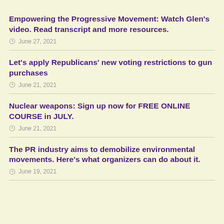Empowering the Progressive Movement: Watch Glen’s video. Read transcript and more resources.
○ June 27, 2021
Let’s apply Republicans’ new voting restrictions to gun purchases
○ June 21, 2021
Nuclear weapons: Sign up now for FREE ONLINE COURSE in JULY.
○ June 21, 2021
The PR industry aims to demobilize environmental movements. Here’s what organizers can do about it.
○ June 19, 2021